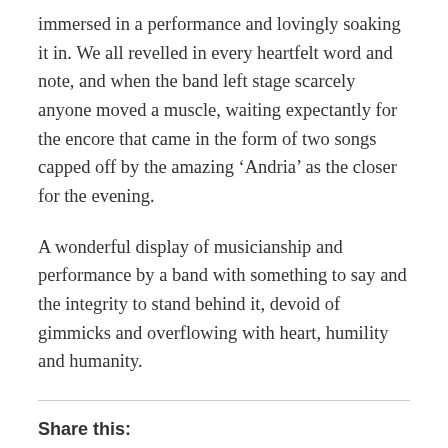immersed in a performance and lovingly soaking it in. We all revelled in every heartfelt word and note, and when the band left stage scarcely anyone moved a muscle, waiting expectantly for the encore that came in the form of two songs capped off by the amazing ‘Andria’ as the closer for the evening.
A wonderful display of musicianship and performance by a band with something to say and the integrity to stand behind it, devoid of gimmicks and overflowing with heart, humility and humanity.
Share this:
Twitter
Facebook
Loading...